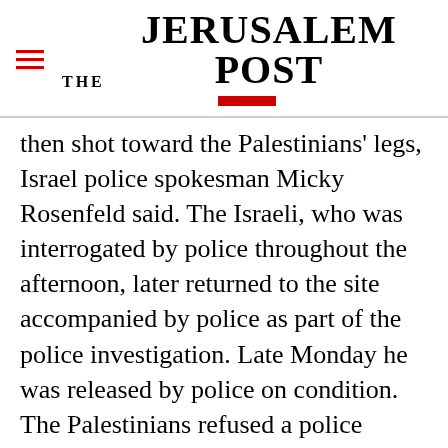THE JERUSALEM POST
then shot toward the Palestinians' legs, Israel police spokesman Micky Rosenfeld said. The Israeli, who was interrogated by police throughout the afternoon, later returned to the site accompanied by police as part of the police investigation. Late Monday he was released by police on condition. The Palestinians refused a police request to carry out an autopsy on the body to determine the cause of death, police said. Palestinians have been holding a series of violent
Advertisement